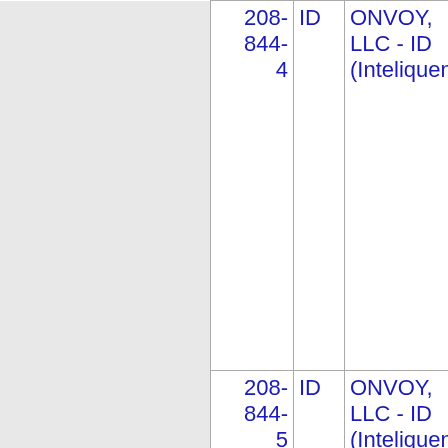|  |  | ID | ONVOY, LLC - ID (Inteliquent) | 689F | ABERDEE |
| --- | --- | --- | --- | --- | --- |
|  | 208-844-4 | ID | ONVOY, LLC - ID (Inteliquent) | 689F | ABERDEE |
|  | 208-844-5 | ID | ONVOY, LLC - ID (Inteliquent) | 689F | ABERDEE |